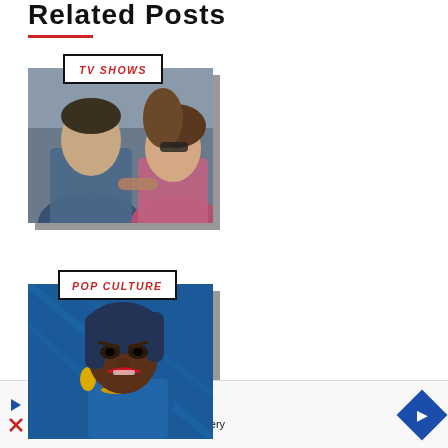Related Posts
[Figure (photo): Card with TV SHOWS label tag and photo of a man and woman outdoors]
[Figure (photo): Card with POP CULTURE label tag and illustration/comic art of a woman]
In-store shopping  In-store pickup  Delivery